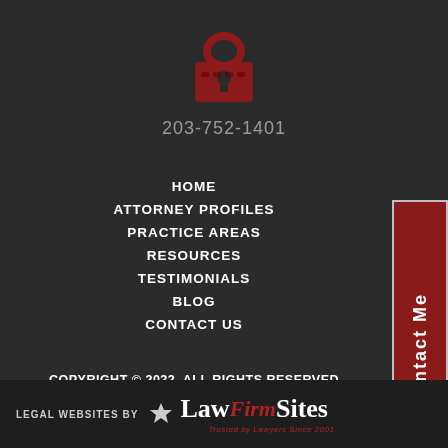[Figure (illustration): Dark red padlock icon]
203-752-1401
HOME
ATTORNEY PROFILES
PRACTICE AREAS
RESOURCES
TESTIMONIALS
BLOG
CONTACT US
Contact Me
COPYRIGHT © 2022. ALL RIGHTS RESERVED
PRIVACY POLICY
DISCLAIMER
SITEMAP
LEGAL WEBSITES BY LawFirm Sites Trusted by Lawyers Since 2001